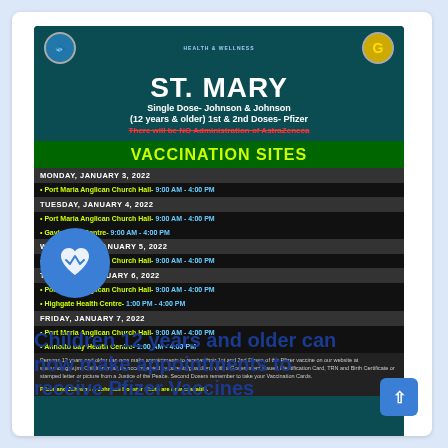[Figure (infographic): St. Mary vaccination sites flyer showing schedule for January 3-7, 2022. Includes Johnson & Johnson single dose, Pfizer 1st & 2nd doses for ages 12+. Sites include Port Maria Anglican Church Hall, Gayle Civic Centre, Highgate Health Centre, and Annotto Bay Health Centre.]
Children 12 years and older can now make appointments to receive Pfizer Vaccines